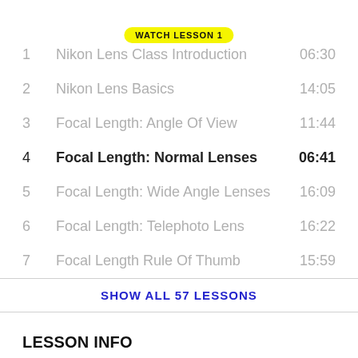1  Nikon Lens Class Introduction  06:30
2  Nikon Lens Basics  14:05
3  Focal Length: Angle Of View  11:44
4  Focal Length: Normal Lenses  06:41
5  Focal Length: Wide Angle Lenses  16:09
6  Focal Length: Telephoto Lens  16:22
7  Focal Length Rule Of Thumb  15:59
SHOW ALL 57 LESSONS
LESSON INFO